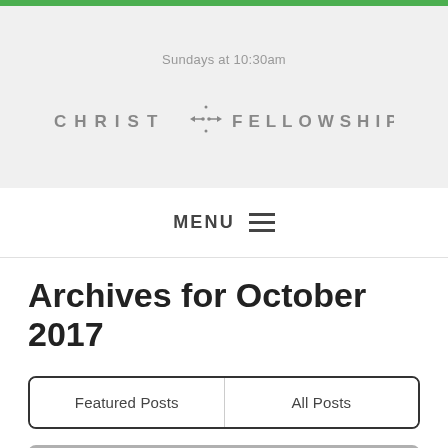Sundays at 10:30am
[Figure (logo): Christ Fellowship logo with asterisk/cross symbol between the two words]
MENU
Archives for October 2017
| Featured Posts | All Posts |
| --- | --- |
Filter blog posts by